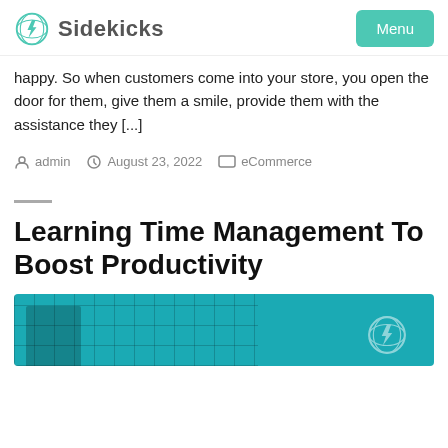Sidekicks | Menu
happy. So when customers come into your store, you open the door for them, give them a smile, provide them with the assistance they [...]
admin  August 23, 2022  eCommerce
Learning Time Management To Boost Productivity
[Figure (photo): Thumbnail image with teal/blue overlay showing a person and Sidekicks logo watermark]